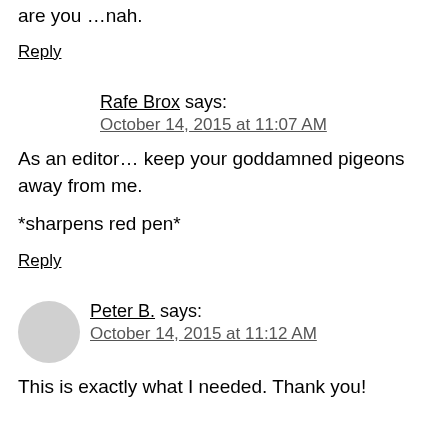are you …nah.
Reply
Rafe Brox says:
October 14, 2015 at 11:07 AM
As an editor… keep your goddamned pigeons away from me.
*sharpens red pen*
Reply
Peter B. says:
October 14, 2015 at 11:12 AM
This is exactly what I needed. Thank you!